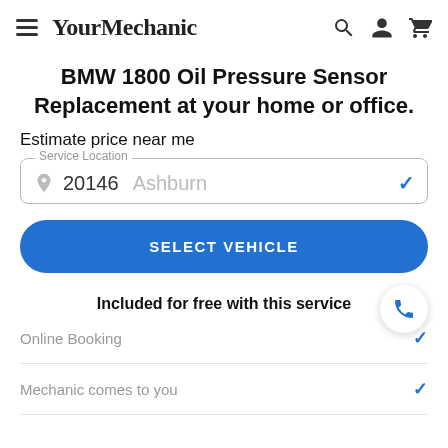YourMechanic
BMW 1800 Oil Pressure Sensor Replacement at your home or office.
Estimate price near me
Service Location: 20146 Ashburn
SELECT VEHICLE
Included for free with this service
Online Booking
Mechanic comes to you